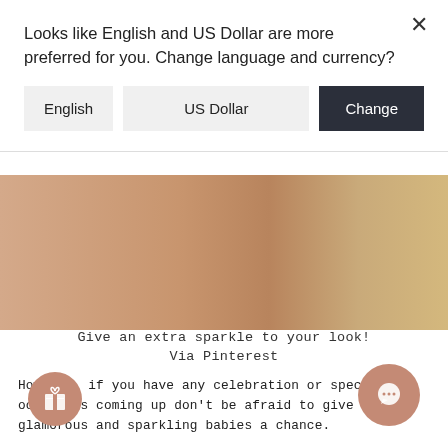Looks like English and US Dollar are more preferred for you. Change language and currency?
English | US Dollar | Change
[Figure (photo): Close-up photo of a person's neck/shoulder area with blonde hair, skin tone background]
Give an extra sparkle to your look!
Via Pinterest
However, if you have any celebration or special occasions coming up don't be afraid to give these glamorous and sparkling babies a chance.
Furthermore, they could be a great add-on to elegant dresses and outfits. Just try to also match them with the rest of accessories and you are ready to rock the night.